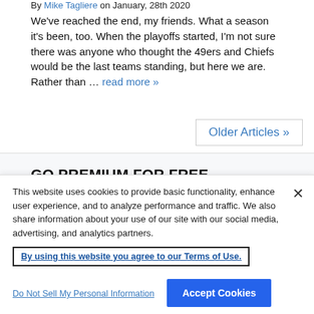By Mike Tagliere on January, 28th 2020
We've reached the end, my friends. What a season it's been, too. When the playoffs started, I'm not sure there was anyone who thought the 49ers and Chiefs would be the last teams standing, but here we are. Rather than … read more »
Older Articles »
GO PREMIUM FOR FREE
Deposit at least $10 at a DFS partner site you have NOT played at and get up to a FREE 6 Month HOF Subscription!
This website uses cookies to provide basic functionality, enhance user experience, and to analyze performance and traffic. We also share information about your use of our site with our social media, advertising, and analytics partners.
By using this website you agree to our Terms of Use.
Do Not Sell My Personal Information
Accept Cookies